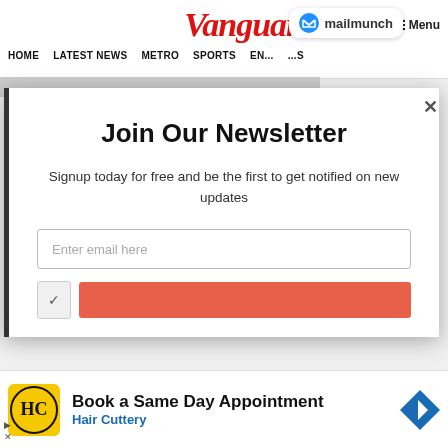Vanguard
HOME  LATEST NEWS  METRO  SPORTS  ENTERTAINMENT  VIDEOS
[Figure (screenshot): Mailmunch badge with blue M logo and text 'mailmunch']
Join Our Newsletter
Signup today for free and be the first to get notified on new updates
Enter email here
[Figure (infographic): Red/orange Subscribe button partially visible]
[Figure (infographic): Hair Cuttery advertisement: HC logo, 'Book a Same Day Appointment', 'Hair Cuttery', navigation arrow icon]